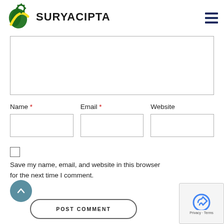[Figure (logo): Suryacipta logo with green/yellow leaf/palm design and bold text SURYACIPTA]
[textarea input box - comment field]
Name * Email * Website
[input fields for Name, Email, Website]
[checkbox] Save my name, email, and website in this browser for the next time I comment.
POST COMMENT